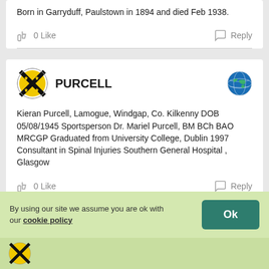Born in Garryduff, Paulstown in 1894 and died Feb 1938.
0 Like   Reply
PURCELL
Kieran Purcell, Lamogue, Windgap, Co. Kilkenny DOB 05/08/1945 Sportsperson Dr. Mariel Purcell, BM BCh BAO MRCGP Graduated from University College, Dublin 1997 Consultant in Spinal Injuries Southern General Hospital , Glasgow
0 Like   Reply
By using our site we assume you are ok with our cookie policy